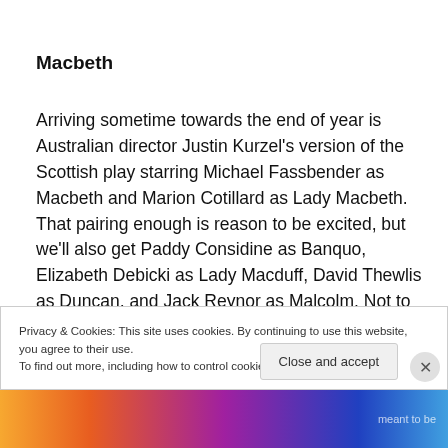Macbeth
Arriving sometime towards the end of year is Australian director Justin Kurzel's version of the Scottish play starring Michael Fassbender as Macbeth and Marion Cotillard as Lady Macbeth. That pairing enough is reason to be excited, but we'll also get Paddy Considine as Banquo, Elizabeth Debicki as Lady Macduff, David Thewlis as Duncan, and Jack Reynor as Malcolm. Not to mention that
Privacy & Cookies: This site uses cookies. By continuing to use this website, you agree to their use.
To find out more, including how to control cookies, see here: Cookie Policy
Close and accept